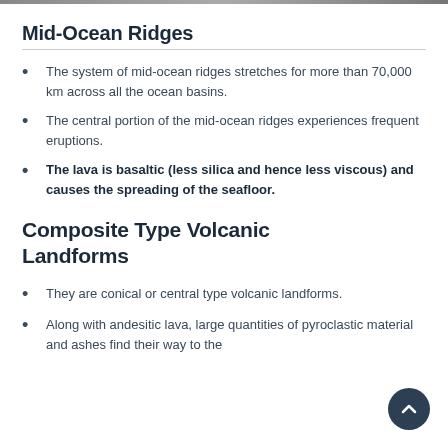Mid-Ocean Ridges
The system of mid-ocean ridges stretches for more than 70,000 km across all the ocean basins.
The central portion of the mid-ocean ridges experiences frequent eruptions.
The lava is basaltic (less silica and hence less viscous) and causes the spreading of the seafloor.
Composite Type Volcanic Landforms
They are conical or central type volcanic landforms.
Along with andesitic lava, large quantities of pyroclastic material and ashes find their way to the